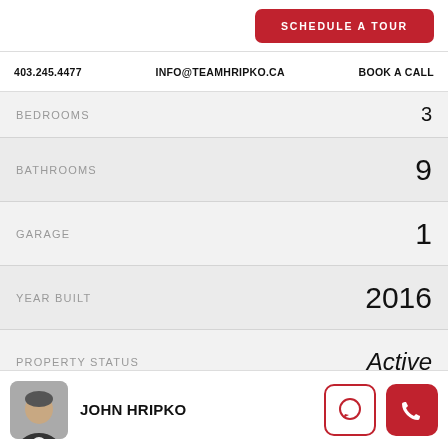SCHEDULE A TOUR
403.245.4477   INFO@TEAMHRIPKO.CA   BOOK A CALL
BEDROOMS: 3
BATHROOMS: 9
GARAGE: 1
YEAR BUILT: 2016
PROPERTY STATUS: Active
PROPERTY TYPE: Detached, Residential
MLS NUMBER: A1176722
JOHN HRIPKO